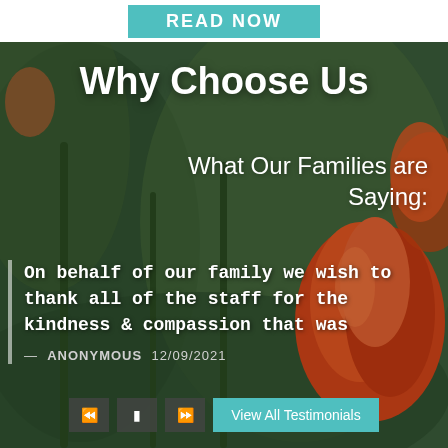[Figure (screenshot): Teal READ NOW button on white background at top of page]
[Figure (photo): Background photo of orange tulips with green blurred foliage]
Why Choose Us
What Our Families are Saying:
On behalf of our family we wish to thank all of the staff for the kindness & compassion that was
— ANONYMOUS  12/09/2021
[Figure (screenshot): Media player controls: rewind, stop, fast-forward buttons, and View All Testimonials teal button]